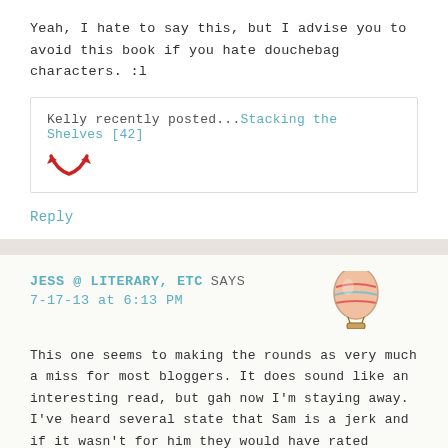Yeah, I hate to say this, but I advise you to avoid this book if you hate douchebag characters. :l
Kelly recently posted...Stacking the Shelves [42]
Reply
JESS @ LITERARY, ETC SAYS
7-17-13 at 6:13 PM
[Figure (illustration): Hot air balloon avatar/icon illustration]
This one seems to making the rounds as very much a miss for most bloggers. It does sound like an interesting read, but gah now I'm staying away. I've heard several state that Sam is a jerk and if it wasn't for him they would have rated higher.